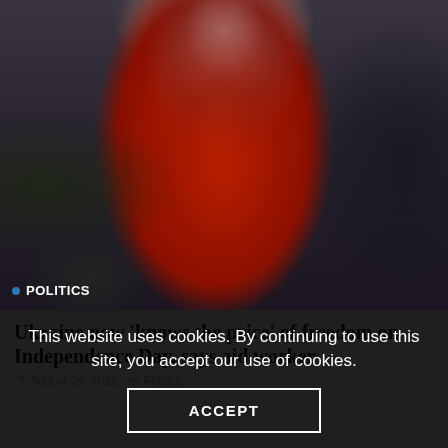[Figure (photo): A young child in a red jacket and pink/mauve knit hat looking at the camera with a sad expression, surrounded by adults in dark clothing. A crowd scene suggesting refugees or displaced persons.]
POLITICS
Ukraine now 'knows the price' of freedom on Independence Day, says aid worker
August 24, 2022 · Politics
This website uses cookies. By continuing to use this site, you accept our use of cookies.
ACCEPT